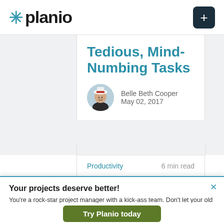[Figure (logo): Planio logo with asterisk icon and wordmark]
Tedious, Mind-Numbing Tasks
Belle Beth Cooper
May 02, 2017
Productivity   6 min read
Your projects deserve better!
You're a rock-star project manager with a kick-ass team. Don't let your old and clunky PM software drag you down. Get everyone on board and start shipping!
Try Planio today